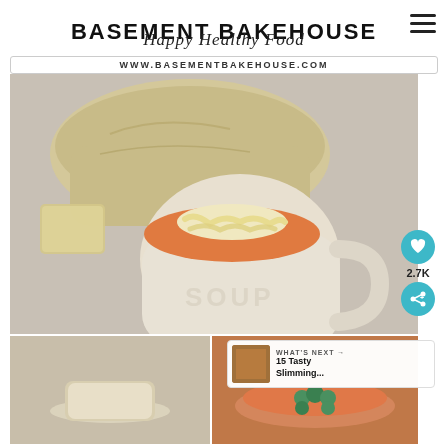BASEMENT BAKEHOUSE
Happy Healthy Food
WWW.BASEMENTBAKEHOUSE.COM
[Figure (photo): A ceramic mug embossed with 'SOUP' filled with creamy orange tomato soup topped with shredded cheese, with rustic bread loaf in background on grey surface.]
2.7K
[Figure (photo): Small bottom-row photo on left: appears to show bread or baked item.]
[Figure (photo): Small bottom-row photo on right: orange/tomato soup in white bowl with green herb garnish.]
WHAT'S NEXT → 15 Tasty Slimming...